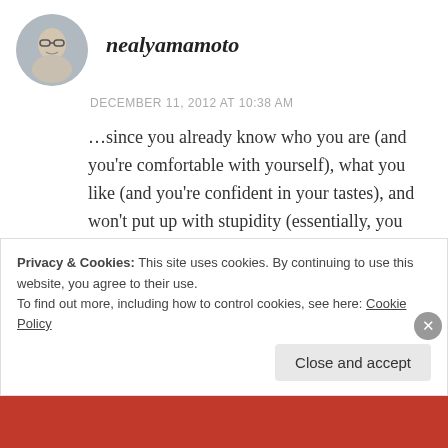[Figure (photo): Circular avatar photo of a person wearing glasses]
nealyamamoto
DECEMBER 11, 2012 AT 10:38 AM
…since you already know who you are (and you're comfortable with yourself), what you like (and you're confident in your tastes), and won't put up with stupidity (essentially, you prefer the sane to the insane), i'd say you already have all the necessary tools for successfully dealing with the wildlife in the dating jungle…
Privacy & Cookies: This site uses cookies. By continuing to use this website, you agree to their use.
To find out more, including how to control cookies, see here: Cookie Policy
Close and accept